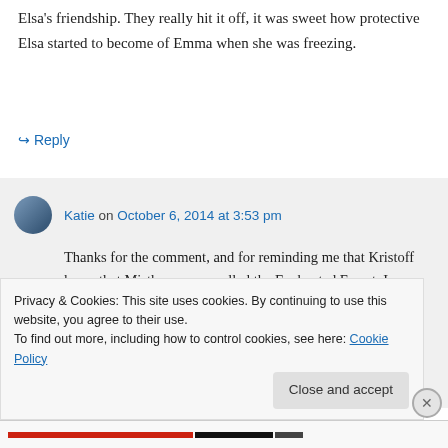Elsa's friendship. They really hit it off, it was sweet how protective Elsa started to become of Emma when she was freezing.
↪ Reply
Katie on October 6, 2014 at 3:53 pm
Thanks for the comment, and for reminding me that Kristoff knew that Misthaven was called the Enchanted Forest. I wonder if he
Privacy & Cookies: This site uses cookies. By continuing to use this website, you agree to their use.
To find out more, including how to control cookies, see here: Cookie Policy
Close and accept